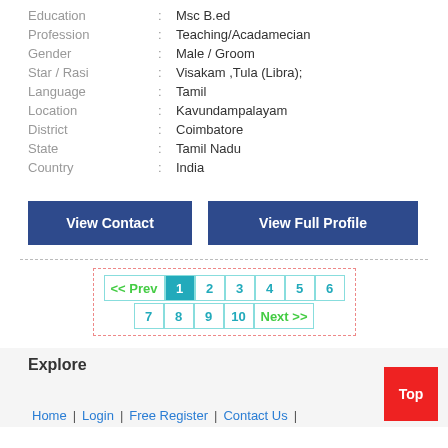| Field |  | Value |
| --- | --- | --- |
| Education | : | Msc B.ed |
| Profession | : | Teaching/Acadamecian |
| Gender | : | Male / Groom |
| Star / Rasi | : | Visakam ,Tula (Libra); |
| Language | : | Tamil |
| Location | : | Kavundampalayam |
| District | : | Coimbatore |
| State | : | Tamil Nadu |
| Country | : | India |
View Contact | View Full Profile
<< Prev 1 2 3 4 5 6 7 8 9 10 Next >>
Explore
Home | Login | Free Register | Contact Us |